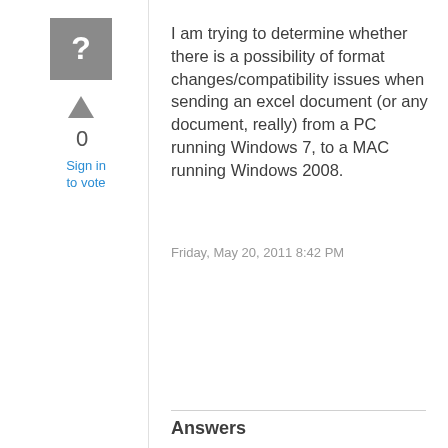[Figure (illustration): Gray square avatar icon with a white question mark]
0
Sign in to vote
I am trying to determine whether there is a possibility of format changes/compatibility issues when sending an excel document (or any document, really) from a PC running Windows 7, to a MAC running Windows 2008.
Friday, May 20, 2011 8:42 PM
Answers